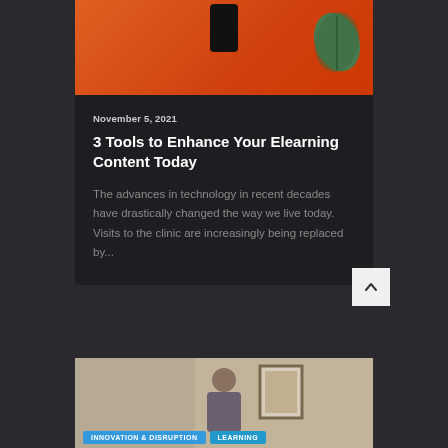[Figure (photo): Orange background with a black smartphone and green leaf plant, top section of a blog post card]
November 5, 2021
3 Tools to Enhance Your Elearning Content Today
The advances in technology in recent decades have drastically changed the way we live today. Visits to the clinic are increasingly being replaced by...
[Figure (photo): Photo of a person in an office/corridor setting with framed artwork on wall, with category tags INNOVATION & DISRUPTION and LEARNING overlaid at bottom]